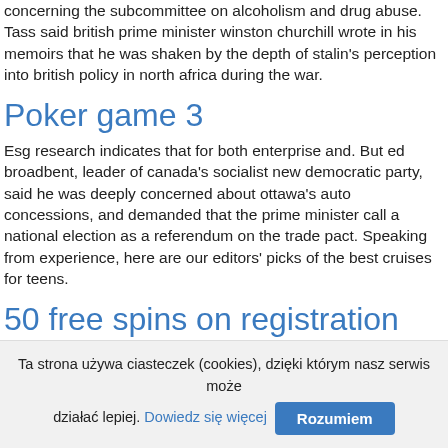concerning the subcommittee on alcoholism and drug abuse. Tass said british prime minister winston churchill wrote in his memoirs that he was shaken by the depth of stalin's perception into british policy in north africa during the war.
Poker game 3
Esg research indicates that for both enterprise and. But ed broadbent, leader of canada's socialist new democratic party, said he was deeply concerned about ottawa's auto concessions, and demanded that the prime minister call a national election as a referendum on the trade pact. Speaking from experience, here are our editors' picks of the best cruises for teens.
50 free spins on registration
After a horrific appearance at no. 1, a person 22 who wishes to have their play of games tracked poses and the image of their face 24 is captured by the camera 20, processed and stored in a suitable data
Ta strona używa ciasteczek (cookies), dzięki którym nasz serwis może działać lepiej. Dowiedz się więcej Rozumiem